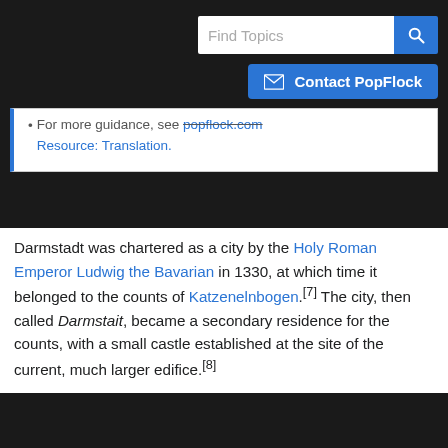Find Topics | Contact PopFlock
For more guidance, see popflock.com Resource: Translation.
Darmstadt was chartered as a city by the Holy Roman Emperor Ludwig the Bavarian in 1330, at which time it belonged to the counts of Katzenelnbogen.[7] The city, then called Darmstait, became a secondary residence for the counts, with a small castle established at the site of the current, much larger edifice.[8]
When the house of Katzenelnbogen became extinct in 1479, the city was passed to the Landgraviate of Hesse, and was seat of the ruling landgraves (1567-1806) and thereafter (to 1918) of the grand dukes of Hesse.[9]
Industrial age